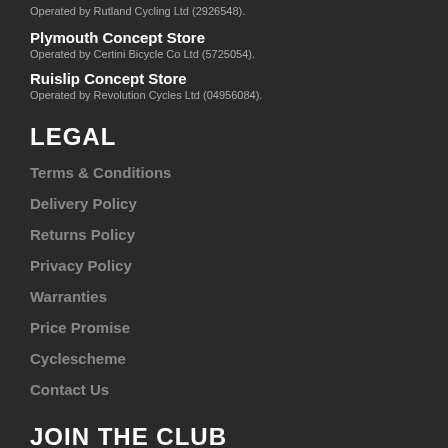Operated by Rutland Cycling Ltd (2926548).
Plymouth Concept Store
Operated by Certini Bicycle Co Ltd (5725054).
Ruislip Concept Store
Operated by Revolution Cycles Ltd (04956084).
LEGAL
Terms & Conditions
Delivery Policy
Returns Policy
Privacy Policy
Warranties
Price Promise
Cyclescheme
Contact Us
JOIN THE CLUB